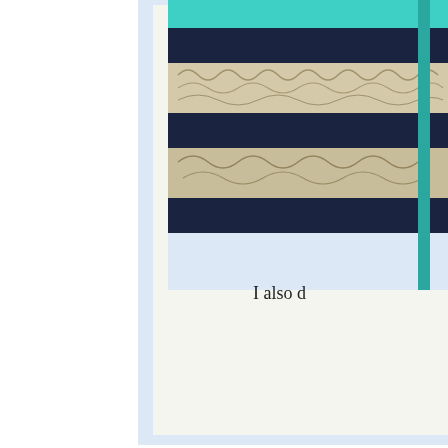[Figure (photo): Partial view of a handmade card or craft project displayed on a light blue background. The card features horizontal stripes of dark navy blue alternating with a decorative swirling gold/cream patterned paper, with teal/turquoise accents and a glittery teal element at the top. The image is cropped showing only the right portion of the card.]
I also d